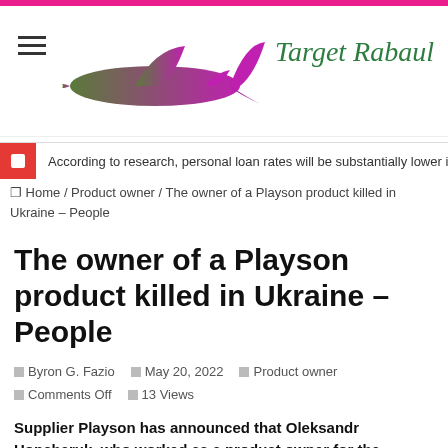[Figure (logo): Target Rabaul website logo with airplane silhouette colored green to purple gradient and italic script text 'Target Rabaul' in dark green]
According to research, personal loan rates will be substantially lower in 2022 c...
❐ Home / Product owner / The owner of a Playson product killed in Ukraine – People
The owner of a Playson product killed in Ukraine – People
❐ Byron G. Fazio  ❐ May 20, 2022  ❐ Product owner  ❐ Comments Off  ❐ 13 Views
Supplier Playson has announced that Oleksandr Honcharuk, who worked as a product owner for the content developer, died during a fight in Ukraine.